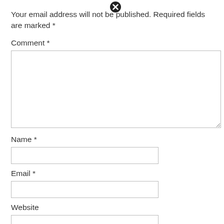Your email address will not be published. Required fields are marked *
Comment *
[Figure (screenshot): Large comment text area input box]
Name *
[Figure (screenshot): Name text input field]
Email *
[Figure (screenshot): Email text input field]
Website
[Figure (screenshot): Website text input field]
Save my name, email, and website in this